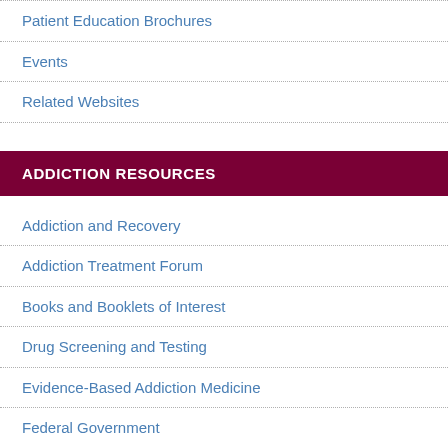Patient Education Brochures
Events
Related Websites
ADDICTION RESOURCES
Addiction and Recovery
Addiction Treatment Forum
Books and Booklets of Interest
Drug Screening and Testing
Evidence-Based Addiction Medicine
Federal Government